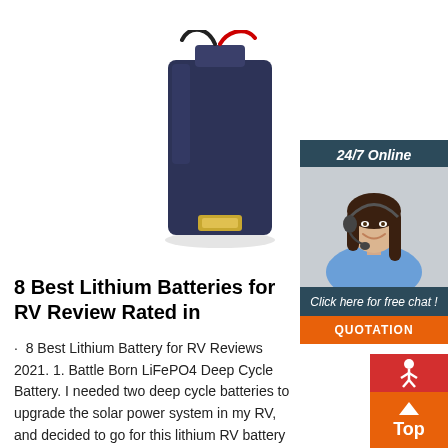[Figure (photo): A dark navy blue rectangular LiFePO4 lithium battery pack with red and black wires and a gold connector at the bottom, photographed on a white background.]
[Figure (photo): A sidebar advertisement showing a smiling woman with a headset (customer service representative) against a white background, with a dark teal header reading '24/7 Online', a chat prompt 'Click here for free chat!', and an orange 'QUOTATION' button.]
8 Best Lithium Batteries for RV Review Rated in
8 Best Lithium Battery for RV Reviews 2021. 1. Battle Born LiFePO4 Deep Cycle Battery. I needed two deep cycle batteries to upgrade the solar power system in my RV, and decided to go for this lithium RV battery as I've been told that they
[Figure (other): An orange 'Top' button with an upward arrow, positioned in the bottom right corner.]